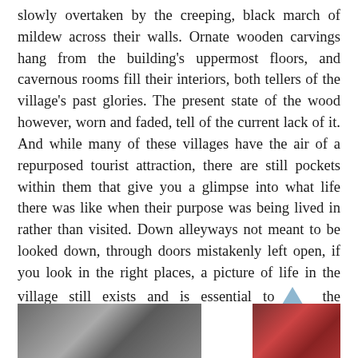slowly overtaken by the creeping, black march of mildew across their walls. Ornate wooden carvings hang from the building's uppermost floors, and cavernous rooms fill their interiors, both tellers of the village's past glories. The present state of the wood however, worn and faded, tell of the current lack of it. And while many of these villages have the air of a repurposed tourist attraction, there are still pockets within them that give you a glimpse into what life there was like when their purpose was being lived in rather than visited. Down alleyways not meant to be looked down, through doors mistakenly left open, if you look in the right places, a picture of life in the village still exists and is essential to the appreciation of it.
[Figure (photo): Two partial photographs visible at the bottom of the page: a wide landscape/street scene on the left, and a close-up scene with red tones on the right.]